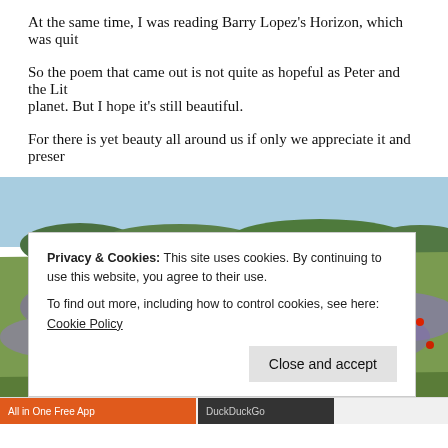At the same time, I was reading Barry Lopez's Horizon, which was quite…
So the poem that came out is not quite as hopeful as Peter and the Lit… planet. But I hope it's still beautiful.
For there is yet beauty all around us if only we appreciate it and prese…
[Figure (photo): Wide landscape photograph of a wildflower meadow with red poppies and purple/blue flowers. Green rolling hills and trees visible in the background under a blue sky.]
Privacy & Cookies: This site uses cookies. By continuing to use this website, you agree to their use.
To find out more, including how to control cookies, see here: Cookie Policy
[Close and accept button]